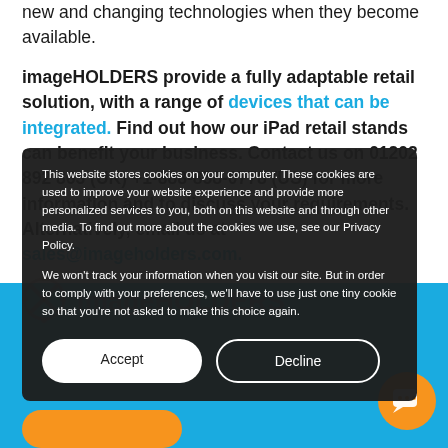new and changing technologies when they become available.
imageHOLDERS provide a fully adaptable retail solution, with a range of devices that can be integrated. Find out how our iPad retail stands can benefit your business. Contact us on 01202 892 863 (UK) +1-888-858-0778 (US) for more information and to discuss your requirements. Alternatively, email us at sales@imageholders.com.
[Figure (screenshot): Cookie consent popup overlay with dark background showing cookie policy text and Accept/Decline buttons]
This website stores cookies on your computer. These cookies are used to improve your website experience and provide more personalized services to you, both on this website and through other media. To find out more about the cookies we use, see our Privacy Policy.
We won't track your information when you visit our site. But in order to comply with your preferences, we'll have to use just one tiny cookie so that you're not asked to make this choice again.
[Figure (logo): imageHOLDERS logo in faded brown/orange on blue background]